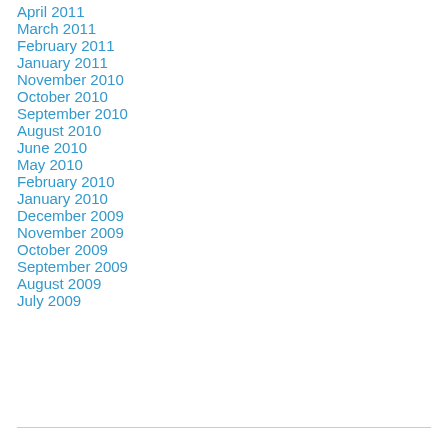April 2011
March 2011
February 2011
January 2011
November 2010
October 2010
September 2010
August 2010
June 2010
May 2010
February 2010
January 2010
December 2009
November 2009
October 2009
September 2009
August 2009
July 2009